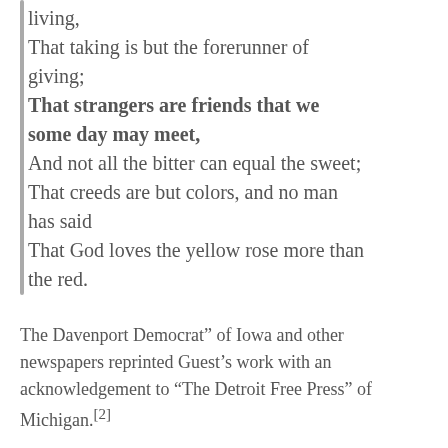living,
That taking is but the forerunner of giving;
That strangers are friends that we some day may meet,
And not all the bitter can equal the sweet;
That creeds are but colors, and no man has said
That God loves the yellow rose more than the red.
The Davenport Democrat” of Iowa and other newspapers reprinted Guest’s work with an acknowledgement to “The Detroit Free Press” of Michigan.[2]